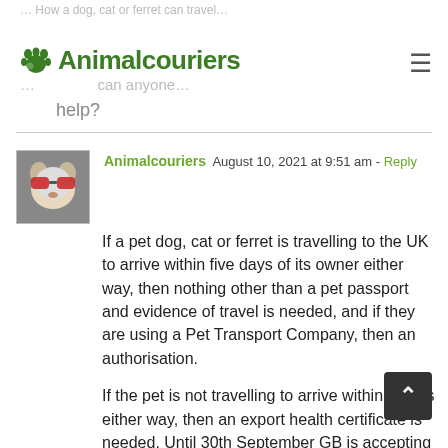Animalcouriers
help?
Animalcouriers  August 10, 2021 at 9:51 am - Reply

If a pet dog, cat or ferret is travelling to the UK to arrive within five days of its owner either way, then nothing other than a pet passport and evidence of travel is needed, and if they are using a Pet Transport Company, then an authorisation.

If the pet is not travelling to arrive within 5 days either way, then an export health certificate is needed. Until 30th September GB is accepting a Traces Certificate + IPAFF, but Export health certificate to GB + IPAFF is